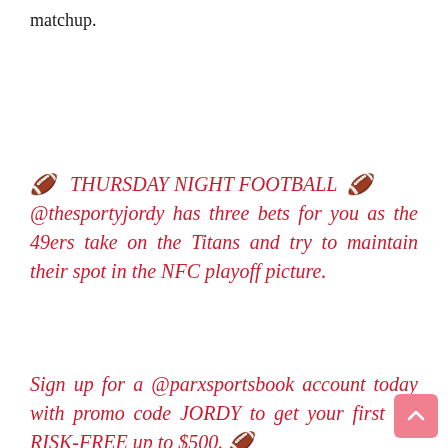matchup.
🏈 THURSDAY NIGHT FOOTBALL 🏈 @thesportyjordy has three bets for you as the 49ers take on the Titans and try to maintain their spot in the NFC playoff picture.
Sign up for a @parxsportsbook account today with promo code JORDY to get your first bet RISK-FREE up to $500. 🏈 pic.twitter.com/aGzGKn0tnR